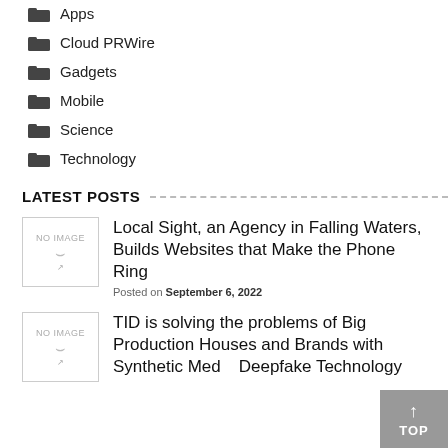Apps
Cloud PRWire
Gadgets
Mobile
Science
Technology
LATEST POSTS
[Figure (other): NO IMAGE placeholder thumbnail]
Local Sight, an Agency in Falling Waters, Builds Websites that Make the Phone Ring
Posted on September 6, 2022
[Figure (other): NO IMAGE placeholder thumbnail]
TID is solving the problems of Big Production Houses and Brands with Synthetic Media Deepfake Technology